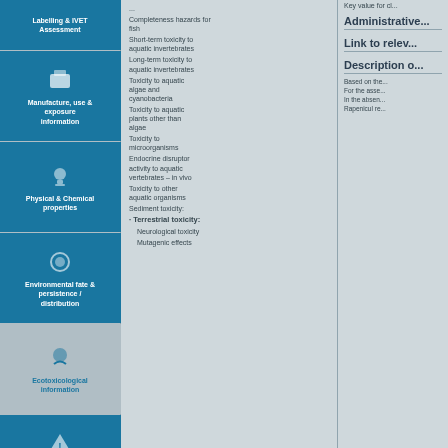Labelling & IVET Assessment
Manufacture, use & exposure information
Physical & Chemical properties
Environmental fate & persistence / distribution
Ecotoxicological information
Toxicological information
Completeness hazards for fish
Short-term toxicity to aquatic invertebrates
Long-term toxicity to aquatic invertebrates
Toxicity to aquatic algae and cyanobacteria
Toxicity to aquatic plants other than algae
Toxicity to microorganisms
Endocrine disruptor activity to aquatic vertebrates – in vivo
Toxicity to other aquatic organisms
Sediment toxicity:
Terrestrial toxicity:
Neurological toxicity
Mutagenic effects
Key value for cl...
Administrative...
Link to relev...
Description o...
Based on the... For the asse... In the absen... Rapenicul re...